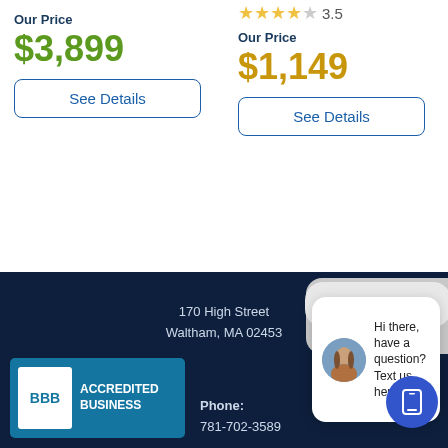Our Price
$3,899
See Details
3.5
Our Price
$1,149
See Details
close
Hi there, have a question? Text us here.
170 High Street
Waltham, MA 02453
Phone:
781-702-3589
[Figure (logo): BBB Accredited Business badge with teal background]
[Figure (photo): Blue circular phone/SMS button]
[Figure (photo): Chat popup with woman avatar and text: Hi there, have a question? Text us here.]